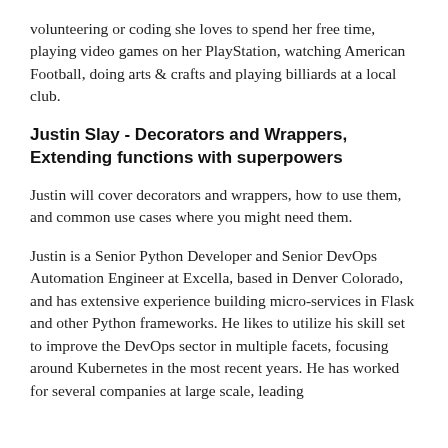volunteering or coding she loves to spend her free time, playing video games on her PlayStation, watching American Football, doing arts & crafts and playing billiards at a local club.
Justin Slay - Decorators and Wrappers, Extending functions with superpowers
Justin will cover decorators and wrappers, how to use them, and common use cases where you might need them.
Justin is a Senior Python Developer and Senior DevOps Automation Engineer at Excella, based in Denver Colorado, and has extensive experience building micro-services in Flask and other Python frameworks. He likes to utilize his skill set to improve the DevOps sector in multiple facets, focusing around Kubernetes in the most recent years. He has worked for several companies at large scale, leading